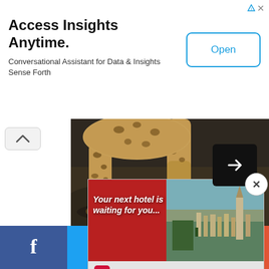[Figure (screenshot): Top advertisement banner: 'Access Insights Anytime.' with subtitle 'Conversational Assistant for Data & Insights Sense Forth' and an 'Open' button on the right. Ad attribution icons in top-right corner.]
[Figure (photo): Partial photograph of a leopard walking, showing spotted legs and body against a dark rocky background. A collapse/chevron-up button on the left.]
[Figure (photo): Aerial landscape photo strip showing a muted brownish-green terrain. A share button (arrow icon) overlay on the right side. A close (x) button in the bottom-right corner.]
[Figure (screenshot): Hotels.com advertisement banner with aerial hotel/resort photo, text 'Your next hotel is waiting for you', Hotels.com logo, and 'BOOK NOW' button.]
[Figure (screenshot): Social sharing bar at bottom with four buttons: Facebook (blue), Twitter (light blue), Email/envelope (dark grey), and plus/more (red-orange).]